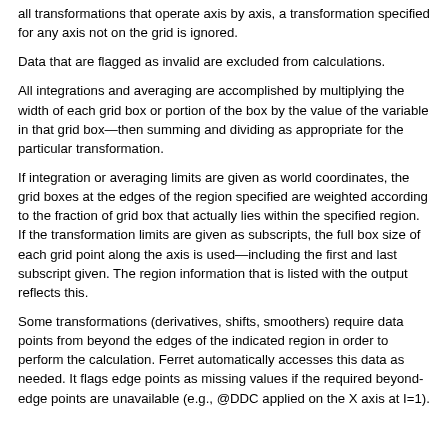all transformations that operate axis by axis, a transformation specified for any axis not on the grid is ignored.
Data that are flagged as invalid are excluded from calculations.
All integrations and averaging are accomplished by multiplying the width of each grid box or portion of the box by the value of the variable in that grid box—then summing and dividing as appropriate for the particular transformation.
If integration or averaging limits are given as world coordinates, the grid boxes at the edges of the region specified are weighted according to the fraction of grid box that actually lies within the specified region. If the transformation limits are given as subscripts, the full box size of each grid point along the axis is used—including the first and last subscript given. The region information that is listed with the output reflects this.
Some transformations (derivatives, shifts, smoothers) require data points from beyond the edges of the indicated region in order to perform the calculation. Ferret automatically accesses this data as needed. It flags edge points as missing values if the required beyond-edge points are unavailable (e.g., @DDC applied on the X axis at I=1).